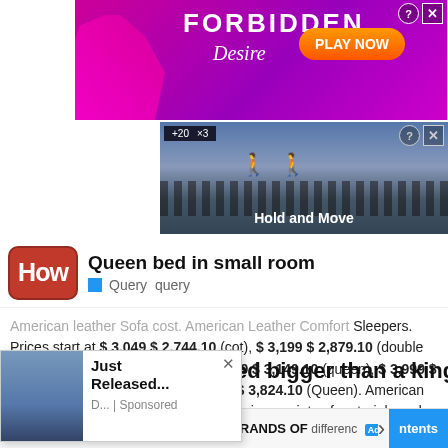[Figure (screenshot): Top banner advertisement for 'Forbidden Desire' game with pink/purple background, silhouette of woman, PLAY NOW button]
[Figure (screenshot): Second banner advertisement showing 'Hold and Move' with dark background and tree silhouettes]
Queen bed in small room
Query  query
American leather Sofa cost. American Leather Comfort Sleepers. Prices start at $ 3,049 $ 2,744.10 (cot), $ 3,199 $ 2,879.10 (double bed), $ 3,399 $ 3,059.10 (full), $ 3,499 $ 3,149.10 (queen), $ 3,999 $ 3,599, 10 (Queen Plus) and $ 4,249 $ 3,824.10 (Queen). American Leather Comfort Sleeper® is available in a variety of materials and colors. Is American Leather a good brand too? American Leather is one of the most luxurious furniture brands in t…
[Figure (screenshot): Popup advertisement with woman photo, reading 'Just Released... D... | Sponsored']
ed bigger than a king size
The king  differenc  1.  BEST BOTTLED WATER BRANDS OF  | Business Focus